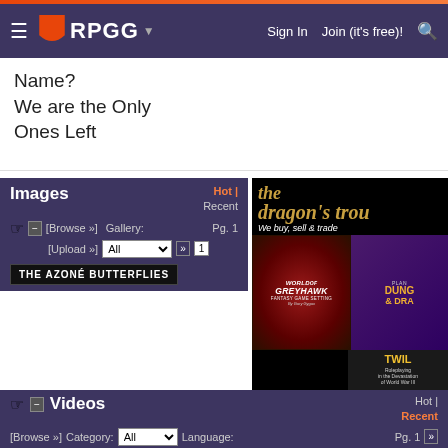RPGG — Sign In | Join (it's free)!
Name?
We are the Only
Ones Left
Images
[Browse »]  Gallery:  Hot | Recent  Pg. 1
[Upload »]  All ▼  »  1
THE AZONÉ BUTTERFLIES
[Figure (screenshot): The Dragon's Trove banner and RPG game box images collage including World of Greyhawk, Star Wars Roleplaying Game, Dungeons & Dragons, and Twilight 2000]
Videos
[Browse »]  Category: All ▼  Language:  Hot | Recent  Pg. 1 »
[Add Video »]  All ▼